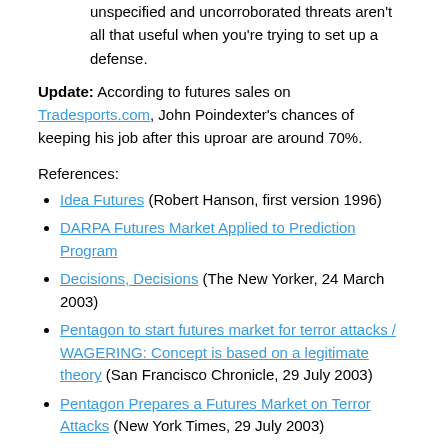unspecified and uncorroborated threats aren't all that useful when you're trying to set up a defense.
Update: According to futures sales on Tradesports.com, John Poindexter's chances of keeping his job after this uproar are around 70%.
References:
Idea Futures (Robert Hanson, first version 1996)
DARPA Futures Market Applied to Prediction Program
Decisions, Decisions (The New Yorker, 24 March 2003)
Pentagon to start futures market for terror attacks / WAGERING: Concept is based on a legitimate theory (San Francisco Chronicle, 29 July 2003)
Pentagon Prepares a Futures Market on Terror Attacks (New York Times, 29 July 2003)
Pentagon's threat-bet program to be canceled under fire from all sides (Associated Press, 29 July 2003)